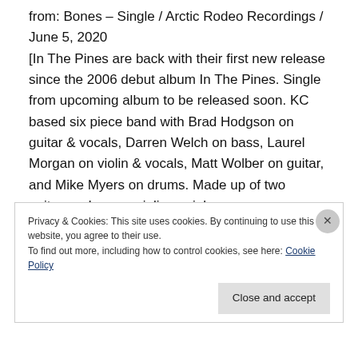from: Bones – Single / Arctic Rodeo Recordings / June 5, 2020
[In The Pines are back with their first new release since the 2006 debut album In The Pines. Single from upcoming album to be released soon. KC based six piece band with Brad Hodgson on guitar & vocals, Darren Welch on bass, Laurel Morgan on violin & vocals, Matt Wolber on guitar, and Mike Myers on drums. Made up of two guitars, a bass, a violin, a viola, a pump organ, drums, and five vocals, their music is serene at times, other times brooding, creating an atmosphere ideal for their subject matter:
Privacy & Cookies: This site uses cookies. By continuing to use this website, you agree to their use.
To find out more, including how to control cookies, see here: Cookie Policy
Close and accept